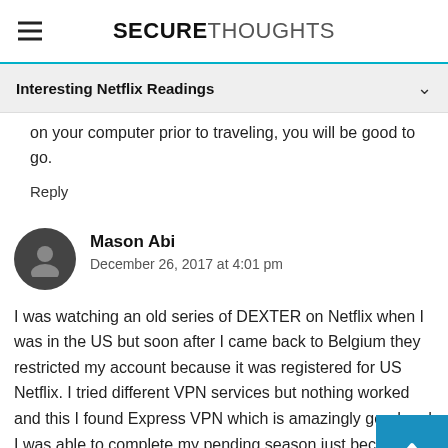SECURETHOUGHTS
Interesting Netflix Readings
on your computer prior to traveling, you will be good to go.
Reply
Mason Abi
December 26, 2017 at 4:01 pm
I was watching an old series of DEXTER on Netflix when I was in the US but soon after I came back to Belgium they restricted my account because it was registered for US Netflix. I tried different VPN services but nothing worked and this I found Express VPN which is amazingly good and I was able to complete my pending season just because it